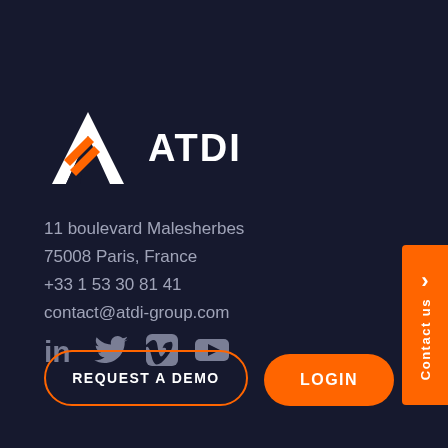[Figure (logo): ATDI logo — stylized white letter A with orange diagonal stripes, followed by bold white text 'ATDI']
11 boulevard Malesherbes
75008 Paris, France
+33 1 53 30 81 41
contact@atdi-group.com
[Figure (infographic): Social media icons: LinkedIn, Twitter, Vimeo, YouTube]
REQUEST A DEMO
LOGIN
Contact us